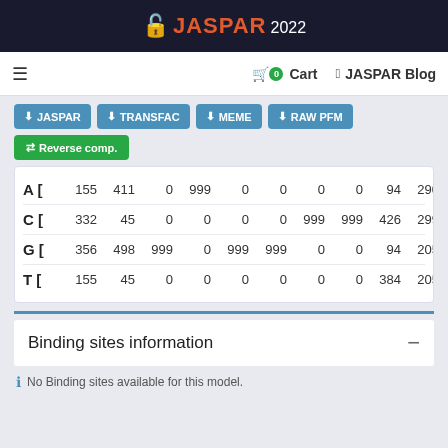JASPAR 2022
≡   Cart 0   JASPAR Blog
⬇ JASPAR  ⬇ TRANSFAC  ⬇ MEME  ⬇ RAW PFM  ⇄ Reverse comp.
| A [ | 155 | 411 | 0 | 999 | 0 | 0 | 0 | 0 | 94 | 290 |
| C [ | 332 | 45 | 0 | 0 | 0 | 0 | 999 | 999 | 426 | 299 |
| G [ | 356 | 498 | 999 | 0 | 999 | 999 | 0 | 0 | 94 | 205 |
| T [ | 155 | 45 | 0 | 0 | 0 | 0 | 0 | 0 | 384 | 205 |
Binding sites information
No Binding sites available for this model.